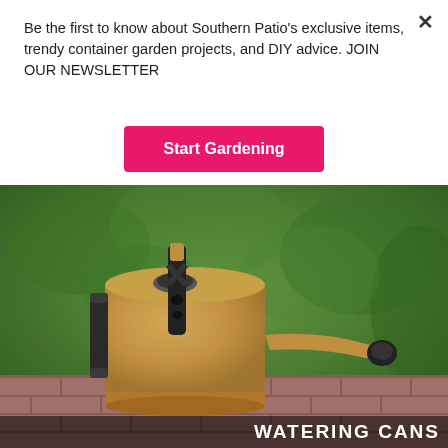Be the first to know about Southern Patio's exclusive items, trendy container garden projects, and DIY advice. JOIN OUR NEWSLETTER
Start Gardening
[Figure (photo): A gold/tan watering can with black handle and nozzle cap, sitting on brick pavers with green shrubs in the background. Text overlay at bottom reads WATERING CANS.]